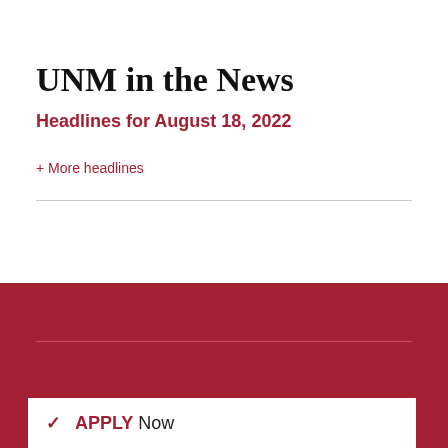UNM in the News
Headlines for August 18, 2022
+ More headlines
[Figure (other): Dark red background section at the bottom of the page with a horizontal divider line and an APPLY Now box at the very bottom]